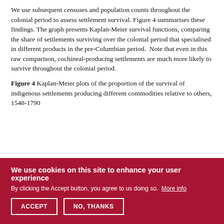We use subsequent censuses and population counts throughout the colonial period to assess settlement survival. Figure 4 summarises these findings. The graph presents Kaplan-Meier survival functions, comparing the share of settlements surviving over the colonial period that specialised in different products in the pre-Columbian period.  Note that even in this raw comparison, cochineal-producing settlements are much more likely to survive throughout the colonial period.
Figure 4 Kaplan-Meier plots of the proportion of the survival of indigenous settlements producing different commodities relative to others, 1548-1790
We use cookies on this site to enhance your user experience
By clicking the Accept button, you agree to us doing so. More info
ACCEPT
NO, THANKS